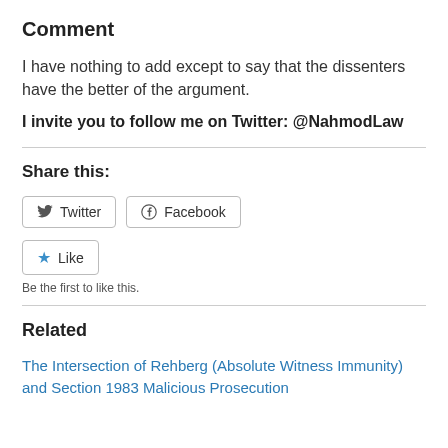Comment
I have nothing to add except to say that the dissenters have the better of the argument.
I invite you to follow me on Twitter: @NahmodLaw
Share this:
[Figure (other): Twitter and Facebook share buttons]
[Figure (other): Like button with star icon]
Be the first to like this.
Related
The Intersection of Rehberg (Absolute Witness Immunity) and Section 1983 Malicious Prosecution